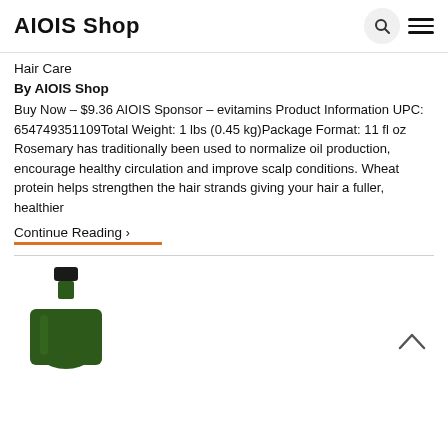AIOIS Shop
Hair Care
By AIOIS Shop
Buy Now – $9.36 AIOIS Sponsor – evitamins Product Information UPC: 654749351109Total Weight: 1 lbs (0.45 kg)Package Format: 11 fl oz Rosemary has traditionally been used to normalize oil production, encourage healthy circulation and improve scalp conditions. Wheat protein helps strengthen the hair strands giving your hair a fuller, healthier
Continue Reading >
[Figure (photo): Green shampoo bottle with black cap, partially visible at bottom of page]